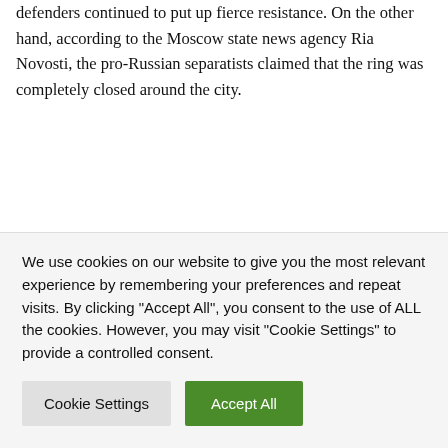defenders continued to put up fierce resistance. On the other hand, according to the Moscow state news agency Ria Novosti, the pro-Russian separatists claimed that the ring was completely closed around the city.
According to Strjuk, around 90 percent of the city's buildings are damaged, and 60 percent would have to be completely rebuilt. He had previously announced that around 1,500 people had been killed in Sieverodonetsk since the start of the war. Among them are both soldiers and civilians, Strjuk said.
We use cookies on our website to give you the most relevant experience by remembering your preferences and repeat visits. By clicking "Accept All", you consent to the use of ALL the cookies. However, you may visit "Cookie Settings" to provide a controlled consent.